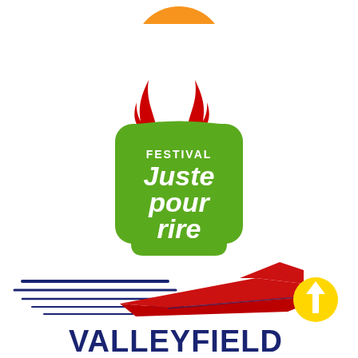[Figure (logo): Partial orange circle at top center, partially cut off]
[Figure (logo): Festival Juste pour rire logo: green trapezoid/bag shape with two red flame/horn shapes on top, white text reading FESTIVAL Juste pour rire]
[Figure (logo): Valleyfield logo: stylized red and blue speedboat/hydroplane with navy speed lines on left, text VALLEYFIELD in bold navy blue below, yellow circle with white upward arrow on right side]